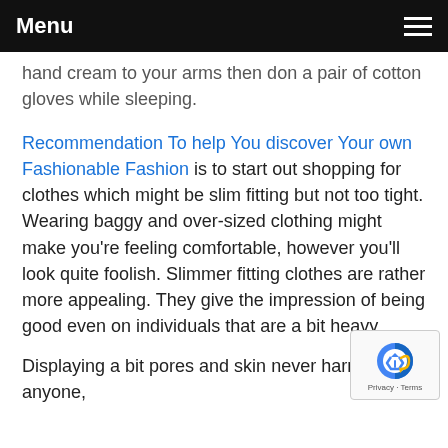Menu
hand cream to your arms then don a pair of cotton gloves while sleeping.
Recommendation To help You discover Your own Fashionable Fashion is to start out shopping for clothes which might be slim fitting but not too tight. Wearing baggy and over-sized clothing might make you're feeling comfortable, however you'll look quite foolish. Slimmer fitting clothes are rather more appealing. They give the impression of being good even on individuals that are a bit heavy.
Displaying a bit pores and skin never harm anyone,